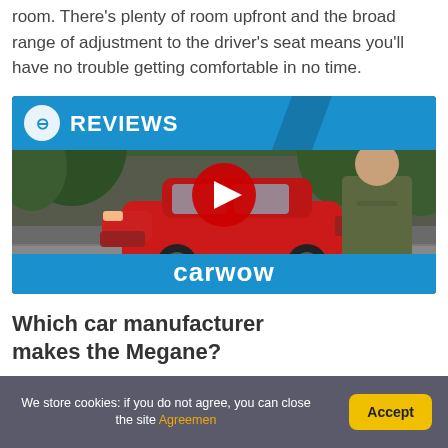room. There's plenty of room upfront and the broad range of adjustment to the driver's seat means you'll have no trouble getting comfortable in no time.
[Figure (screenshot): Carwow YouTube video thumbnail showing a red Renault Megane car with a man standing beside it, play button in the center, 'REVIEWS' banner at top left with carwow logo at bottom]
Which car manufacturer makes the Megane?
We store cookies: if you do not agree, you can close the site Agreemen